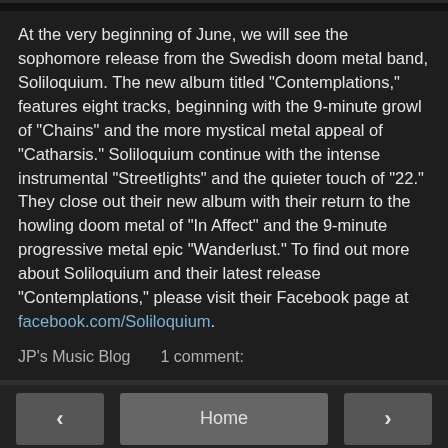At the very beginning of June, we will see the sophomore release from the Swedish doom metal band, Soliloquium. The new album titled "Contemplations," features eight tracks, beginning with the 9-minute growl of "Chains" and the more mystical metal appeal of "Catharsis." Soliloquium continue with the intense instrumental "Streetlights" and the quieter touch of "22." They close out their new album with their return to the howling doom metal of "In Affect" and the 9-minute progressive metal epic "Wanderlust." To find out more about Soliloquium and their latest release "Contemplations," please visit their Facebook page at facebook.com/Soliloquium.
JP's Music Blog    1 comment:
< Home > View web version Powered by Blogger.